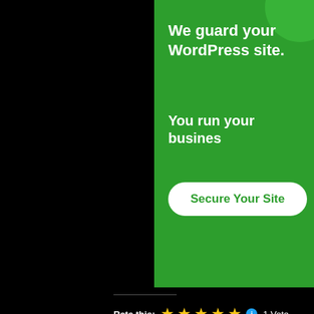[Figure (screenshot): Green advertisement banner: 'We guard your WordPress site. You run your business.' with a 'Secure Your Site' button on green background. Left half of top portion is black.]
Rate this: ★★★★★ 1 Vote
Spread the word:
[Figure (screenshot): Social sharing buttons row: Twitter, Facebook, Reddit, Tumblr, LinkedIn, Pinterest circular icons]
[Figure (screenshot): Like button and avatar strip of user profile photos]
Advertisements
[Figure (screenshot): WordPress advertisement banner with gradient background: 'Create immersive stories.' with 'GET THE APP' text and WordPress logo]